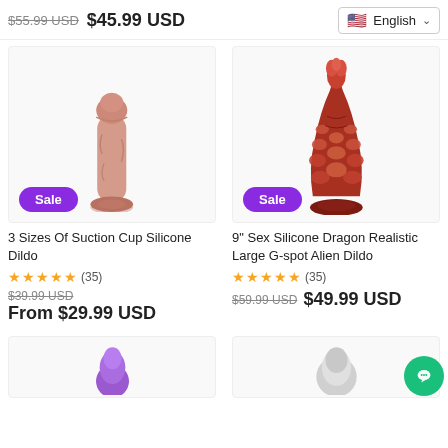$55.99 USD  $45.99 USD
English (language selector)
[Figure (photo): Realistic silicone dildo in nude/pink color with suction cup base, shown upright on white background. Sale badge in purple.]
[Figure (photo): Dragon/alien style silicone dildo in red/brown with textured scales and suction cup base. Sale badge in purple.]
3 Sizes Of Suction Cup Silicone Dildo
★★★★★(35)
$39.99 USD  From $29.99 USD
9" Sex Silicone Dragon Realistic Large G-spot Alien Dildo
★★★★★(35)
$59.99 USD  $49.99 USD
[Figure (photo): Partially visible purple vibrator/toy at bottom left]
[Figure (photo): Partially visible silver/metallic toy at bottom right]